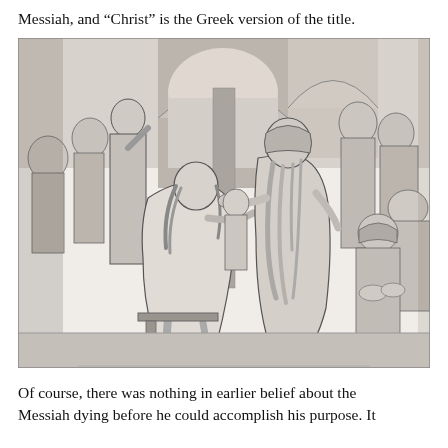Messiah, and “Christ” is the Greek version of the title.
[Figure (illustration): A black and white engraving depicting a biblical scene. A central figure with long hair (Jesus) is seated and bowing his head while an elderly bearded man in robes places his hand on or near his head, appearing to anoint or bless him. Multiple figures in robes surround them in the background, set in an arched architectural space with a landscape visible through the arch.]
Of course, there was nothing in earlier belief about the Messiah dying before he could accomplish his purpose. It